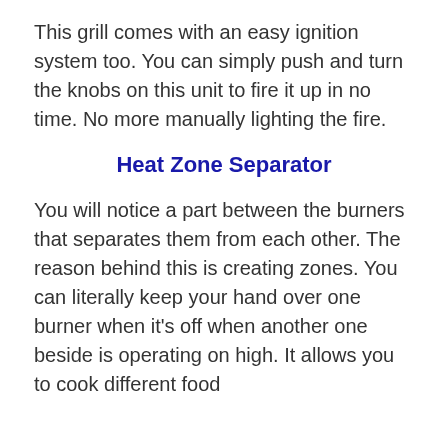This grill comes with an easy ignition system too. You can simply push and turn the knobs on this unit to fire it up in no time. No more manually lighting the fire.
Heat Zone Separator
You will notice a part between the burners that separates them from each other. The reason behind this is creating zones. You can literally keep your hand over one burner when it’s off when another one beside is operating on high. It allows you to cook different food